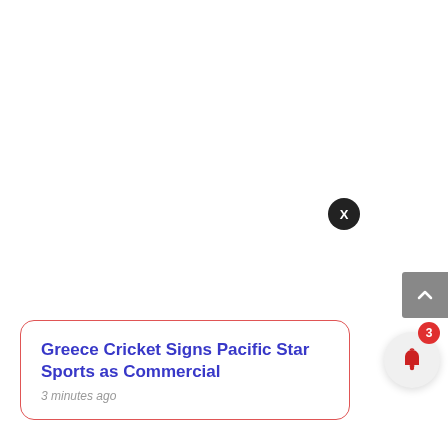[Figure (screenshot): A notification card with a red border showing a news headline 'Greece Cricket Signs Pacific Star Sports as Commercial' with timestamp '3 minutes ago'. There is a dark circular close button (X) in the upper right of the card. On the right side of the screen there is a scroll-up button (grey with upward arrow) and a white circular bell icon button with a red badge showing the number 3.]